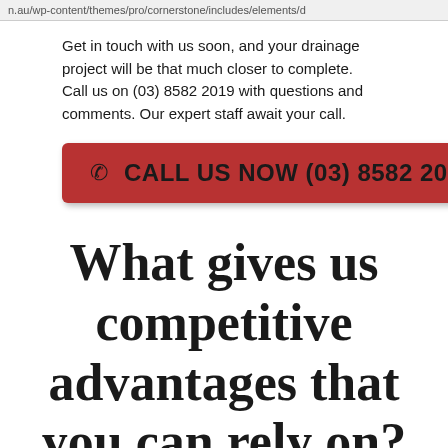n.au/wp-content/themes/pro/cornerstone/includes/elements/d
Get in touch with us soon, and your drainage project will be that much closer to complete.   Call us on (03) 8582 2019 with questions and comments. Our expert staff await your call.
[Figure (other): Red call-to-action button with phone icon and text: CALL US NOW (03) 8582 2019]
What gives us competitive advantages that you can rely on?